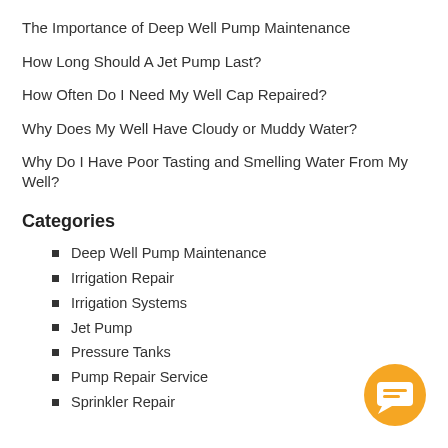The Importance of Deep Well Pump Maintenance
How Long Should A Jet Pump Last?
How Often Do I Need My Well Cap Repaired?
Why Does My Well Have Cloudy or Muddy Water?
Why Do I Have Poor Tasting and Smelling Water From My Well?
Categories
Deep Well Pump Maintenance
Irrigation Repair
Irrigation Systems
Jet Pump
Pressure Tanks
Pump Repair Service
Sprinkler Repair
[Figure (illustration): Orange circular chat/messaging button icon in the bottom-right corner]